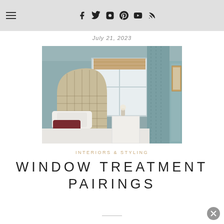Navigation bar with hamburger menu and social icons (Facebook, Twitter, Instagram, Pinterest, YouTube, RSS, Search)
July 21, 2023
[Figure (photo): Elegant bedroom with a plaid upholstered headboard, white bedding, burgundy accent pillow, white nightstand with flowers, and soft blue-gray walls with curtains and roman shade on window]
INTERIORS & STYLING
WINDOW TREATMENT PAIRINGS